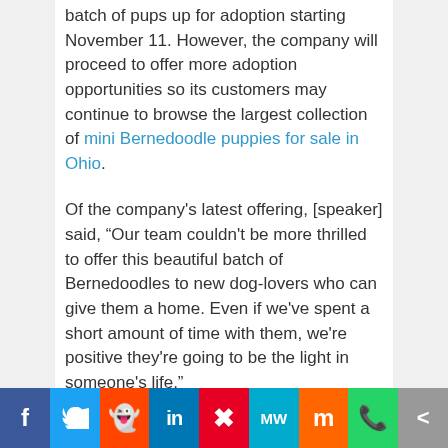batch of pups up for adoption starting November 11. However, the company will proceed to offer more adoption opportunities so its customers may continue to browse the largest collection of mini Bernedoodle puppies for sale in Ohio.
Of the company's latest offering, [speaker] said, “Our team couldn't be more thrilled to offer this beautiful batch of Bernedoodles to new dog-lovers who can give them a home. Even if we've spent a short amount of time with them, we're positive they're going to be the light in someone's life.”
Those interested in adopting one of the Bernedoodles can choose between eight different pups, ranging in price from